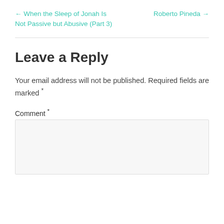← When the Sleep of Jonah Is Not Passive but Abusive (Part 3)
Roberto Pineda →
Leave a Reply
Your email address will not be published. Required fields are marked *
Comment *